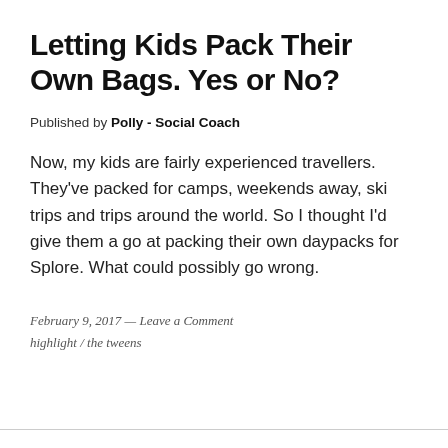Letting Kids Pack Their Own Bags. Yes or No?
Published by Polly - Social Coach
Now, my kids are fairly experienced travellers. They've packed for camps, weekends away, ski trips and trips around the world. So I thought I'd give them a go at packing their own daypacks for Splore. What could possibly go wrong.
February 9, 2017 — Leave a Comment
highlight / the tweens